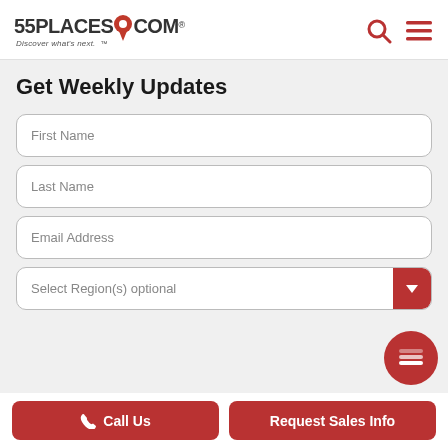55PLACES.COM — Discover what's next.™
Get Weekly Updates
First Name
Last Name
Email Address
Select Region(s) optional